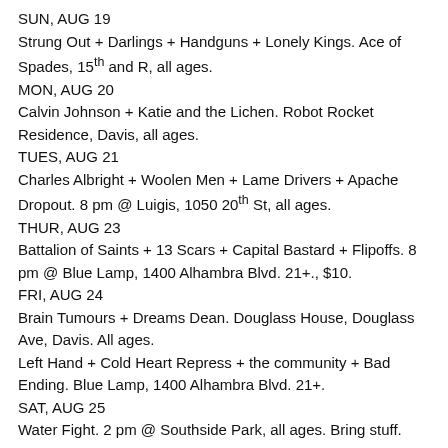SUN, AUG 19
Strung Out + Darlings + Handguns + Lonely Kings.  Ace of Spades, 15th and R, all ages.
MON, AUG 20
Calvin Johnson + Katie and the Lichen.  Robot Rocket Residence, Davis, all ages.
TUES, AUG 21
Charles Albright + Woolen Men + Lame Drivers + Apache Dropout.  8 pm @ Luigis, 1050 20th St, all ages.
THUR, AUG 23
Battalion of Saints + 13 Scars + Capital Bastard + Flipoffs. 8 pm @ Blue Lamp, 1400 Alhambra Blvd.  21+., $10.
FRI, AUG 24
Brain Tumours + Dreams Dean.  Douglass House, Douglass Ave, Davis. All ages.
Left Hand + Cold Heart Repress + the community + Bad Ending.  Blue Lamp, 1400 Alhambra Blvd.  21+.
SAT, AUG 25
Water Fight. 2 pm @ Southside Park, all ages. Bring stuff.
THUR, AUG 30
Panties + Cobra Venom.  Blue Lamp, 1400 Alhambra Blvd.  21+.
SAT, SEP 1